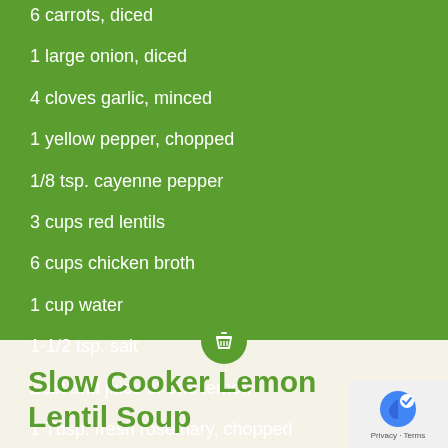6 carrots, diced
1 large onion, diced
4 cloves garlic, minced
1 yellow pepper, chopped
1/8 tsp. cayenne pepper
3 cups red lentils
6 cups chicken broth
1 cup water
1-1/2 tsp. salt
Zest and juice of one lemon
1 Tbsp. fresh rosemary, chopped
Slow Cooker Lemon Lentil Soup